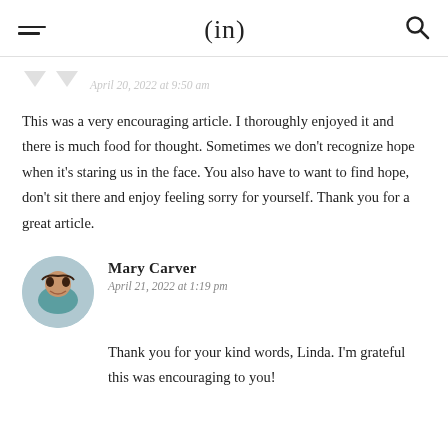(in)
April 20, 2022 at 9:50 am
This was a very encouraging article. I thoroughly enjoyed it and there is much food for thought. Sometimes we don't recognize hope when it's staring us in the face. You also have to want to find hope, don't sit there and enjoy feeling sorry for yourself. Thank you for a great article.
Mary Carver
April 21, 2022 at 1:19 pm
Thank you for your kind words, Linda. I'm grateful this was encouraging to you!